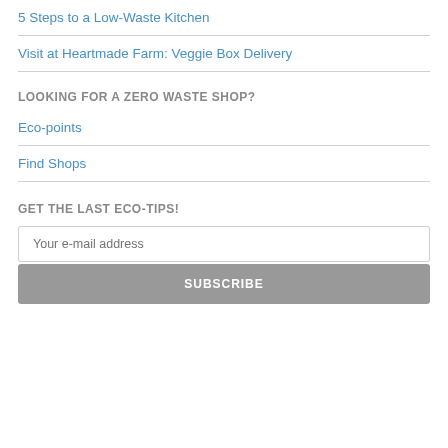5 Steps to a Low-Waste Kitchen
Visit at Heartmade Farm: Veggie Box Delivery
LOOKING FOR A ZERO WASTE SHOP?
Eco-points
Find Shops
GET THE LAST ECO-TIPS!
Your e-mail address
SUBSCRIBE